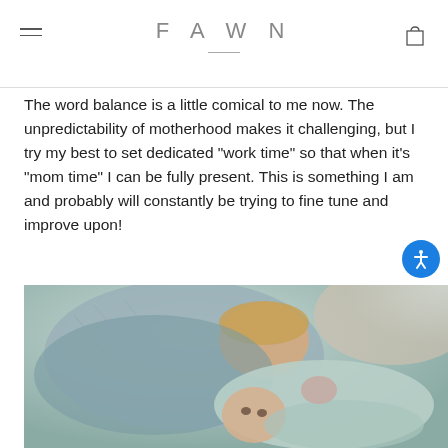FAWN
The word balance is a little comical to me now. The unpredictability of motherhood makes it challenging, but I try my best to set dedicated “work time” so that when it’s “mom time” I can be fully present. This is something I am and probably will constantly be trying to fine tune and improve upon!
[Figure (photo): Two young children lying together on a light-colored couch or cushion. An older toddler with blonde hair leans down toward a baby dressed in light green/mint clothing. The older child wears a grey-blue textured outfit.]